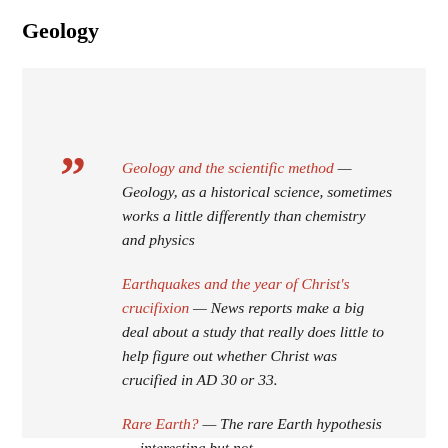Geology
Geology and the scientific method — Geology, as a historical science, sometimes works a little differently than chemistry and physics
Earthquakes and the year of Christ's crucifixion — News reports make a big deal about a study that really does little to help figure out whether Christ was crucified in AD 30 or 33.
Rare Earth? — The rare Earth hypothesis — interesting but not